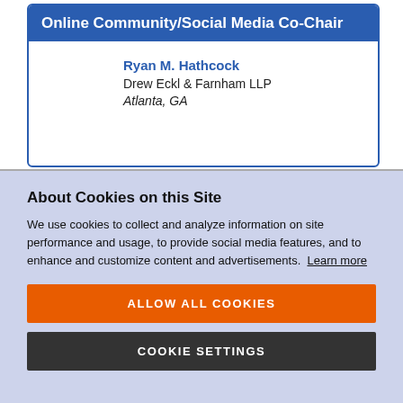Online Community/Social Media Co-Chair
Ryan M. Hathcock
Drew Eckl & Farnham LLP
Atlanta, GA
About Cookies on this Site
We use cookies to collect and analyze information on site performance and usage, to provide social media features, and to enhance and customize content and advertisements. Learn more
ALLOW ALL COOKIES
COOKIE SETTINGS